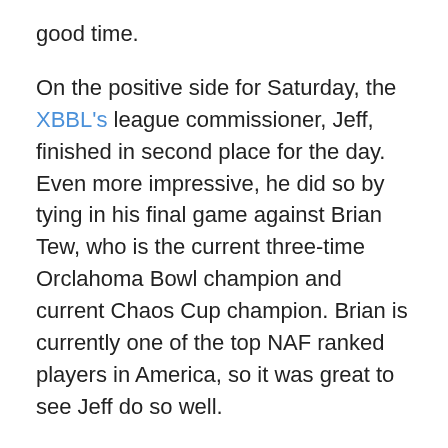good time.
On the positive side for Saturday, the XBBL's league commissioner, Jeff, finished in second place for the day. Even more impressive, he did so by tying in his final game against Brian Tew, who is the current three-time Orclahoma Bowl champion and current Chaos Cup champion. Brian is currently one of the top NAF ranked players in America, so it was great to see Jeff do so well.
Day two was Spiky Cup, and Spiky Cup went much better for me. Spiky Cup has special rules that focus heavily on doing damage to your opponent as well as scoring touchdowns. In fact, the winner of the tournament lost his last game, but did some much damage throughout the day, that he finished in first over his opponent who did not lose a single game all day. It was Spiky Cup that I have